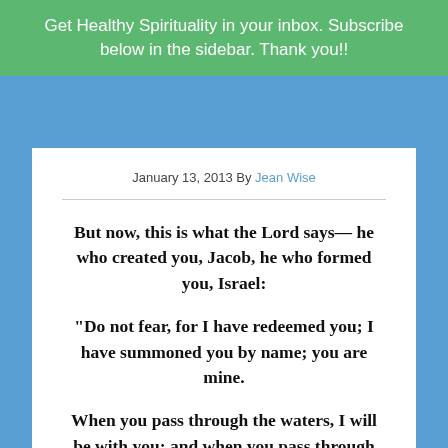Get Healthy Spirituality in your inbox. Subscribe below in the sidebar. Thank you!!
January 13, 2013 By Jean Wise
But now, this is what the Lord says— he who created you, Jacob, he who formed you, Israel:
“Do not fear, for I have redeemed you; I have summoned you by name; you are mine.
When you pass through the waters, I will be with you; and when you pass through the rivers, they will not sweep over you.